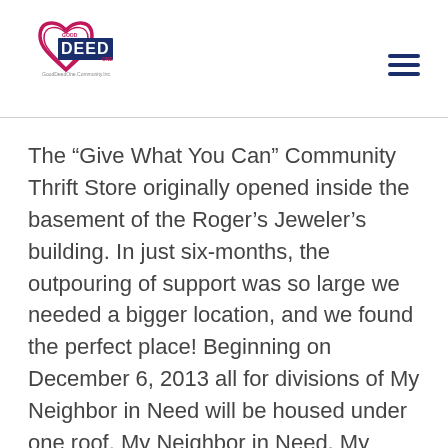[Figure (logo): Good Deed logo with a heart shape in pink/magenta and the word DEED in blue block letters, with tagline text below]
The “Give What You Can” Community Thrift Store originally opened inside the basement of the Roger’s Jeweler’s building. In just six-months, the outpouring of support was so large we needed a bigger location, and we found the perfect place! Beginning on December 6, 2013 all for divisions of My Neighbor in Need will be housed under one roof. My Neighbor in Need, My Student in Need,